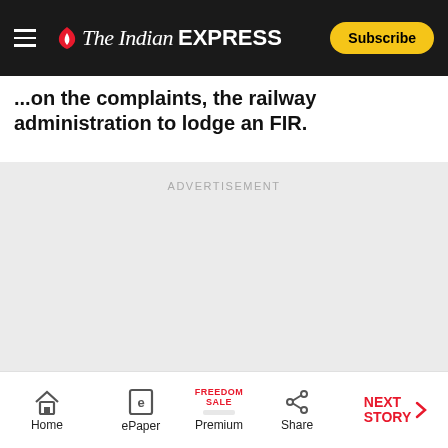The Indian Express — Subscribe
...on the complaints, the railway administration to lodge an FIR.
[Figure (other): Advertisement placeholder area with light gray background and centered ADVERTISEMENT label]
Home | ePaper | Premium (Freedom Sale) | Share | NEXT STORY